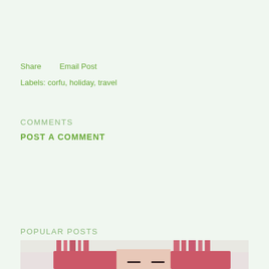Share    Email Post
Labels: corfu, holiday, travel
COMMENTS
POST A COMMENT
POPULAR POSTS
[Figure (photo): Cropped photo of a person with pink/red hair, showing forehead and hair at the bottom of the page]